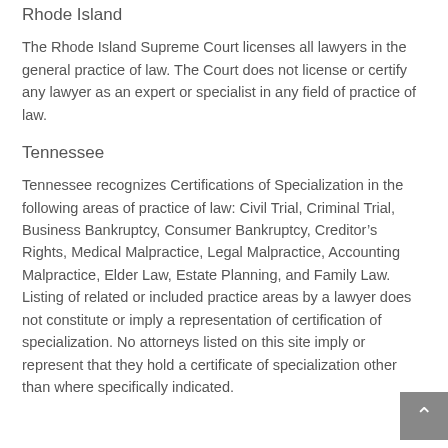Rhode Island
The Rhode Island Supreme Court licenses all lawyers in the general practice of law. The Court does not license or certify any lawyer as an expert or specialist in any field of practice of law.
Tennessee
Tennessee recognizes Certifications of Specialization in the following areas of practice of law: Civil Trial, Criminal Trial, Business Bankruptcy, Consumer Bankruptcy, Creditor’s Rights, Medical Malpractice, Legal Malpractice, Accounting Malpractice, Elder Law, Estate Planning, and Family Law. Listing of related or included practice areas by a lawyer does not constitute or imply a representation of certification of specialization. No attorneys listed on this site imply or represent that they hold a certificate of specialization other than where specifically indicated.